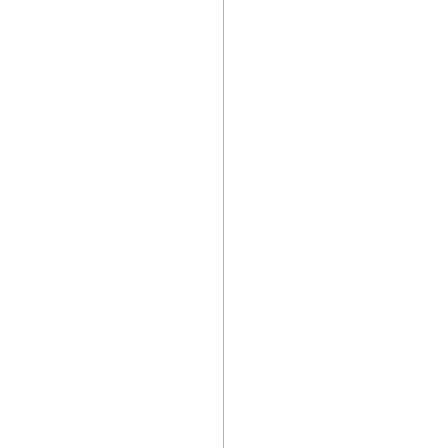Rise Of Lazurus ... The BBC aired
[Figure (other): Vertical gray line dividing the page into left and right halves]